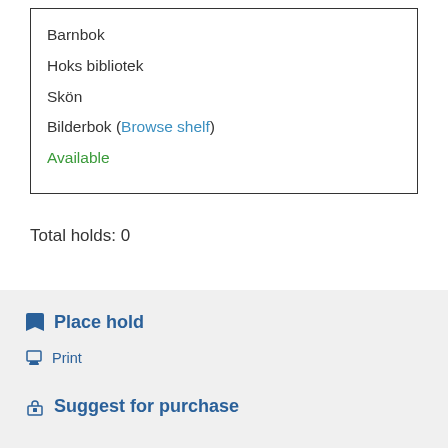| Barnbok |
| Hoks bibliotek |
| Skön |
| Bilderbok (Browse shelf) |
| Available |
Total holds: 0
Place hold
Print
Suggest for purchase
More searches ▾